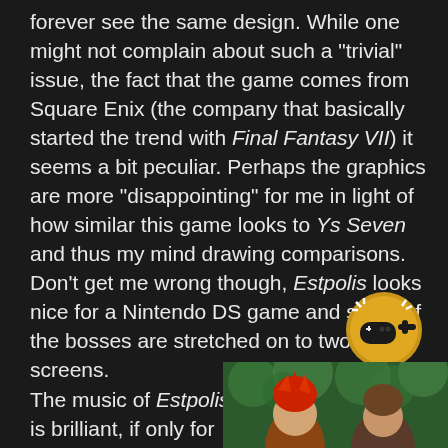forever see the same design. While one might not complain about such a "trivial" issue, the fact that the game comes from Square Enix (the company that basically started the trend with Final Fantasy VII) it seems a bit peculiar. Perhaps the graphics are more "disappointing" for me in light of how similar this game looks to Ys Seven and thus my mind drawing comparisons. Don't get me wrong though, Estpolis looks nice for a Nintendo DS game and some of the bosses are stretched on to two screens.
[Figure (logo): A circular gold/yellow badge icon with a game controller and plus symbol, suggesting a gaming achievement or badge]
The music of Estpolis is brilliant, if only for
[Figure (photo): A photo showing two animated/illustrated characters with red and brown hair against a green leafy background]